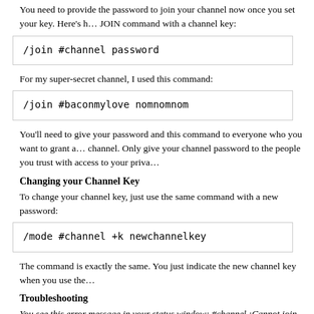You need to provide the password to join your channel now once you set your key. Here's how to use the JOIN command with a channel key:
For my super-secret channel, I used this command:
You'll need to give your password and this command to everyone who you want to grant access to your channel. Only give your channel password to the people you trust with access to your private channel.
Changing your Channel Key
To change your channel key, just use the same command with a new password:
The command is exactly the same. You just indicate the new channel key when you use the command.
Troubleshooting
You see this error message in your status window: #channel :Cannot join channel (+k) Either you didn't include the password or you used the wrong password. Check with the channel owner for the correct password or to ask for access to the channel.